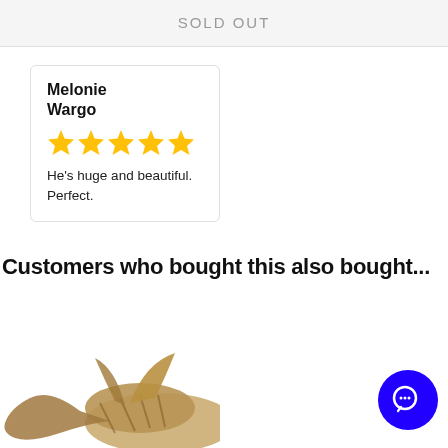SOLD OUT
Melonie Wargo
★★★★★
He's huge and beautiful. Perfect.
Customers who bought this also bought...
[Figure (photo): Partial photo of a bearded dragon or similar reptile at the bottom of the page]
[Figure (other): Blue circular chat/support button with speech bubble icon in bottom right corner]